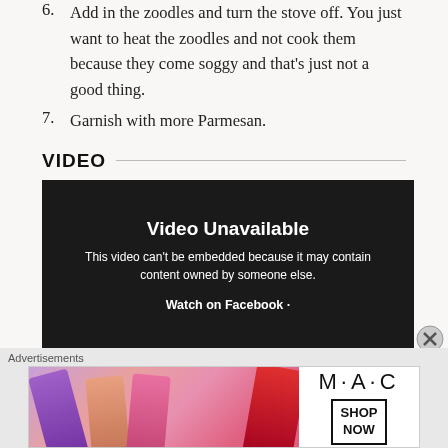6. Add in the zoodles and turn the stove off. You just want to heat the zoodles and not cook them because they come soggy and that’s just not a good thing.
7. Garnish with more Parmesan.
VIDEO
[Figure (screenshot): Dark video player showing 'Video Unavailable' message. Text reads: 'This video can't be embedded because it may contain content owned by someone else.' with 'Watch on Facebook ·' link below.]
[Figure (photo): MAC cosmetics advertisement showing colorful lipsticks (purple, peach, pink, red) with MAC logo and 'SHOP NOW' button.]